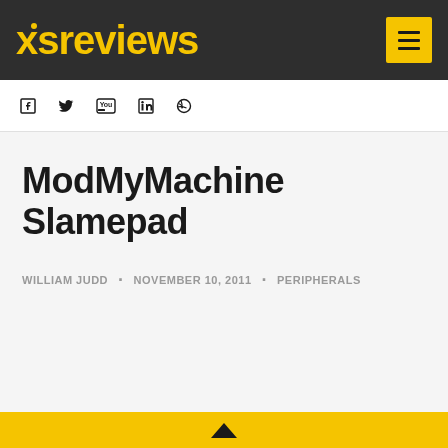xsreviews
ModMyMachine Slamepad
WILLIAM JUDD · NOVEMBER 10, 2011 · PERIPHERALS
^